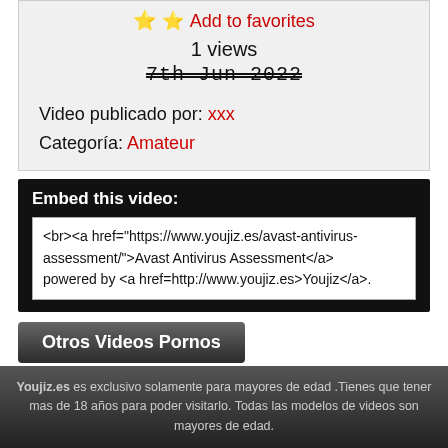⭐ ⭐ Add to favorites
1 views
7th Jun 2022
Video publicado por: xxx
Categoría: Amateur
Embed this video:
<br><a href="https://www.youjiz.es/avast-antivirus-assessment/">Avast Antivirus Assessment</a> powered by <a href=http://www.youjiz.es>Youjiz</a>.
Otros Videos Pornos
Youjiz.es es exclusivo solamente para mayores de edad .Tienes que tener mas de 18 años para poder visitarlo. Todas las modelos de videos son mayores de edad.